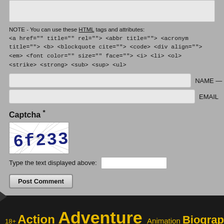NOTE - You can use these HTML tags and attributes: <a href="" title="" rel=""> <abbr title=""> <acronym title=""> <b> <blockquote cite=""> <code> <div align=""> <em> <font color="" size="" face=""> <i> <li> <ol> <strike> <strong> <sub> <sup> <ul>
NAME —
EMAIL
Captcha *
[Figure (other): CAPTCHA image showing distorted text '6f2333' with blue characters and crossing lines on white background]
Type the text displayed above:
Post Comment
18+ Action Adventure Animation Biography Blu-ray Co... Experimental Family Fantasy, Sci-Fi History Horror Mus...
[Figure (logo): uptime badge/logo in bottom right corner]